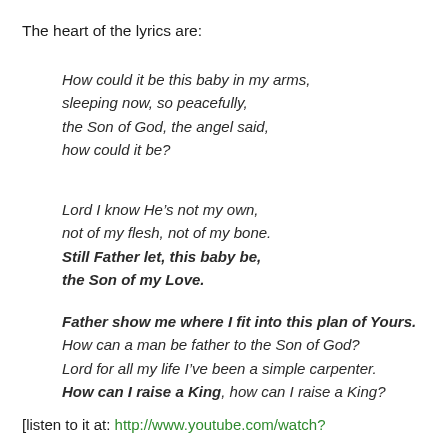The heart of the lyrics are:
How could it be this baby in my arms,
sleeping now, so peacefully,
the Son of God, the angel said,
how could it be?
Lord I know He’s not my own,
not of my flesh, not of my bone.
Still Father let, this baby be,
the Son of my Love.
Father show me where I fit into this plan of Yours.
How can a man be father to the Son of God?
Lord for all my life I’ve been a simple carpenter.
How can I raise a King, how can I raise a King?
[listen to it at: http://www.youtube.com/watch?